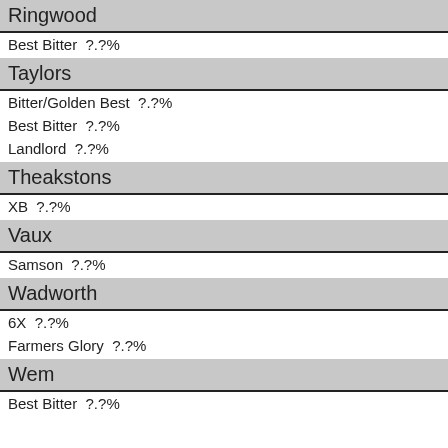Ringwood
Best Bitter  ?.?%
Taylors
Bitter/Golden Best  ?.?%
Best Bitter  ?.?%
Landlord  ?.?%
Theakstons
XB  ?.?%
Vaux
Samson  ?.?%
Wadworth
6X  ?.?%
Farmers Glory  ?.?%
Wem
Best Bitter  ?.?%